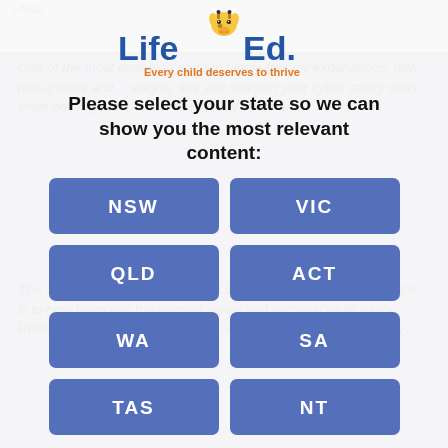[Figure (logo): Life Ed logo with giraffe mascot and tagline 'Every child deserves to thrive']
Please select your state so we can show you the most relevant content:
NSW
VIC
QLD
ACT
WA
SA
TAS
NT